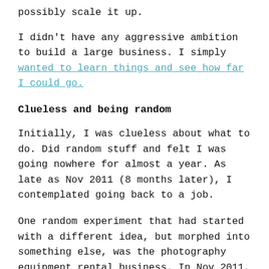possibly scale it up.
I didn't have any aggressive ambition to build a large business. I simply wanted to learn things and see how far I could go.
Clueless and being random
Initially, I was clueless about what to do. Did random stuff and felt I was going nowhere for almost a year. As late as Nov 2011 (8 months later), I contemplated going back to a job.
One random experiment that had started with a different idea, but morphed into something else, was the photography equipment rental business. In Nov 2011, I realized I was doing too many things and